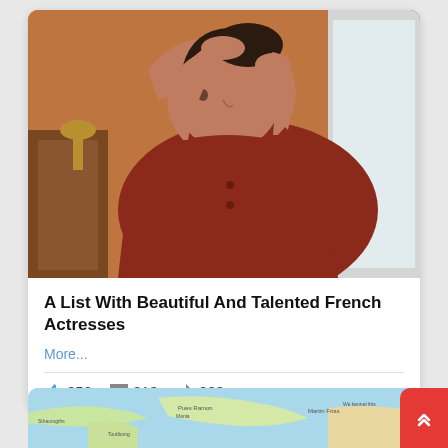[Figure (photo): A woman in a red long-sleeve top with dark hair, arms raised adjusting her hair, photographed in profile. Warm interior background with wooden furniture and a window on the right.]
A List With Beautiful And Talented French Actresses
More...
👍 850  💬 213  ➤ 283
[Figure (map): Partial view of a geographic map showing coastal/island regions, partially visible at the bottom of the page.]